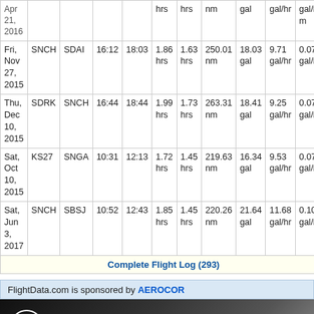| Date | From | To | Dep | Arr | hrs | hrs | nm | gal | gal/hr | gal/nm |
| --- | --- | --- | --- | --- | --- | --- | --- | --- | --- | --- |
| Apr 21, 2016 |  |  |  |  | hrs | hrs | nm | gal | gal/hr | gal/nm |
| Fri, Nov 27, 2015 | SNCH | SDAI | 16:12 | 18:03 | 1.86 hrs | 1.63 hrs | 250.01 nm | 18.03 gal | 9.71 gal/hr | 0.07 gal/nm |
| Thu, Dec 10, 2015 | SDRK | SNCH | 16:44 | 18:44 | 1.99 hrs | 1.73 hrs | 263.31 nm | 18.41 gal | 9.25 gal/hr | 0.07 gal/nm |
| Sat, Oct 10, 2015 | KS27 | SNGA | 10:31 | 12:13 | 1.72 hrs | 1.45 hrs | 219.63 nm | 16.34 gal | 9.53 gal/hr | 0.07 gal/nm |
| Sat, Jun 3, 2017 | SNCH | SBSJ | 10:52 | 12:43 | 1.85 hrs | 1.45 hrs | 220.26 nm | 21.64 gal | 11.68 gal/hr | 0.10 gal/nm |
Complete Flight Log (293)
FlightData.com is sponsored by AEROCOR
[Figure (illustration): AEROCOR Aircraft Sales & Acquisitions advertisement banner showing a small aircraft (Cessna-type) in flight against a dark background, with AEROCOR logo and text 'IT'S' visible on the right side.]